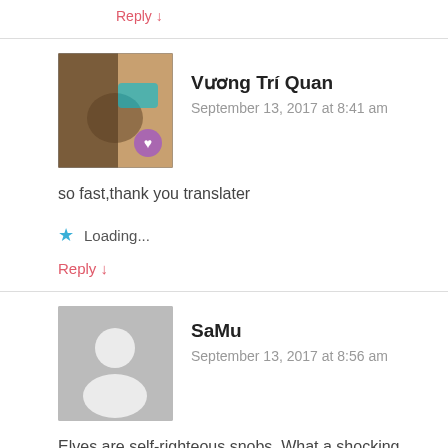Reply ↓
Vương Trí Quan
September 13, 2017 at 8:41 am
so fast,thank you translater
Loading...
Reply ↓
SaMu
September 13, 2017 at 8:56 am
Elves are self-righteous snobs. What a shocking revelation.